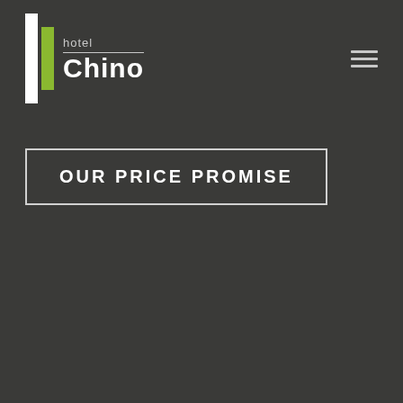[Figure (logo): Hotel Chino logo with green and white vertical bar icon on the left, 'hotel' text above a horizontal line and 'Chino' in bold white below, on dark background]
[Figure (other): Hamburger menu icon with three horizontal lines, top right corner]
OUR PRICE PROMISE